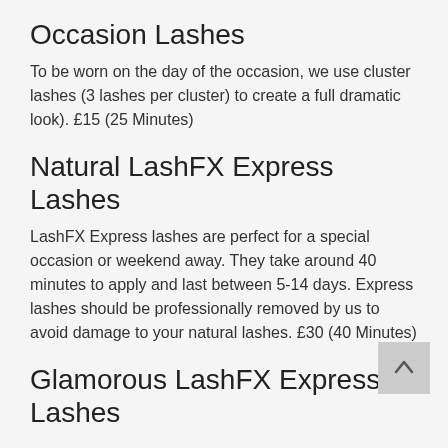Occasion Lashes
To be worn on the day of the occasion, we use cluster lashes (3 lashes per cluster) to create a full dramatic look). £15 (25 Minutes)
Natural LashFX Express Lashes
LashFX Express lashes are perfect for a special occasion or weekend away. They take around 40 minutes to apply and last between 5-14 days. Express lashes should be professionally removed by us to avoid damage to your natural lashes. £30 (40 Minutes)
Glamorous LashFX Express Lashes